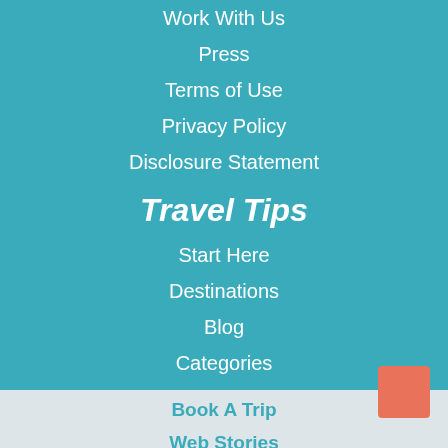Work With Us
Press
Terms of Use
Privacy Policy
Disclosure Statement
Travel Tips
Start Here
Destinations
Blog
Categories
Resources
Book A Trip
Web Stories